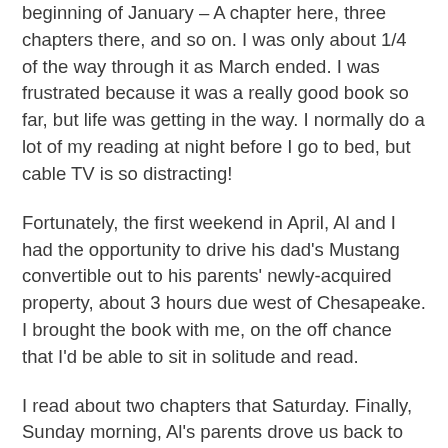beginning of January – A chapter here, three chapters there, and so on. I was only about 1/4 of the way through it as March ended. I was frustrated because it was a really good book so far, but life was getting in the way. I normally do a lot of my reading at night before I go to bed, but cable TV is so distracting!
Fortunately, the first weekend in April, Al and I had the opportunity to drive his dad's Mustang convertible out to his parents' newly-acquired property, about 3 hours due west of Chesapeake. I brought the book with me, on the off chance that I'd be able to sit in solitude and read.
I read about two chapters that Saturday. Finally, Sunday morning, Al's parents drove us back to Chesapeake. It finally got quiet about an hour into the trip, so I took it out and went to town. I declared the book finished just before we got home, and it felt great!
The story is a novelization of Ernest Hemingway's first marriage. Her name is Hadley. Her character undergoes so many changes as she meet Ernest and embarks on